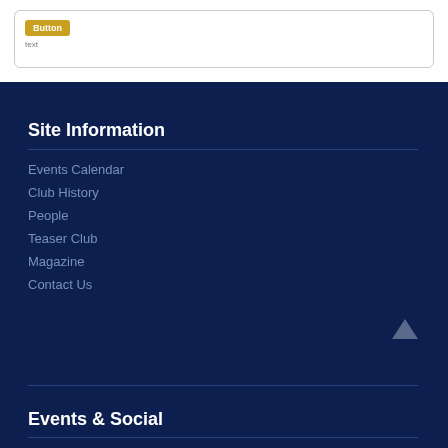Site Information
Events Calendar
Club History
People
Teaser Club
Magazine
Contact Us
Events & Social